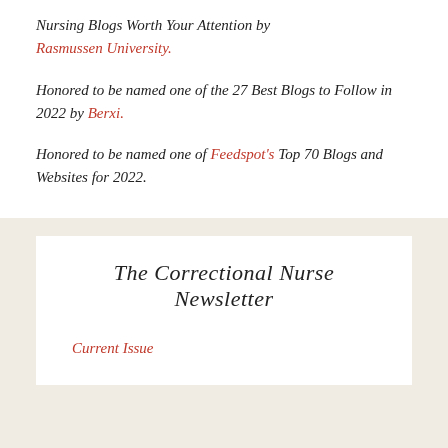Nursing Blogs Worth Your Attention by Rasmussen University.
Honored to be named one of the 27 Best Blogs to Follow in 2022 by Berxi.
Honored to be named one of Feedspot's Top 70 Blogs and Websites for 2022.
The Correctional Nurse Newsletter
Current Issue